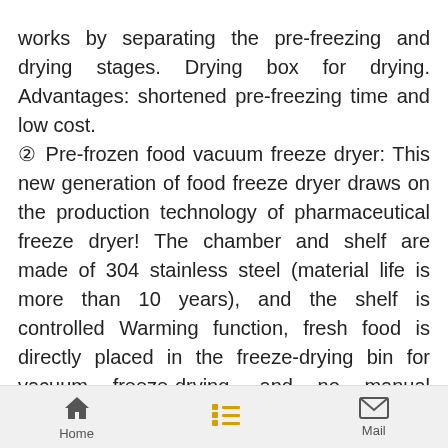works by separating the pre-freezing and drying stages. Drying box for drying. Advantages: shortened pre-freezing time and low cost.
② Pre-frozen food vacuum freeze dryer: This new generation of food freeze dryer draws on the production technology of pharmaceutical freeze dryer! The chamber and shelf are made of 304 stainless steel (material life is more than 10 years), and the shelf is controlled Warming function, fresh food is directly placed in the freeze-drying bin for vacuum freeze-drying, and no manual intervention is required in the pre-freezing and drying stages. Advantages: The equipment has superior and stable performance, long service life, and a wide range of freeze-drying applications.
Home  Mail